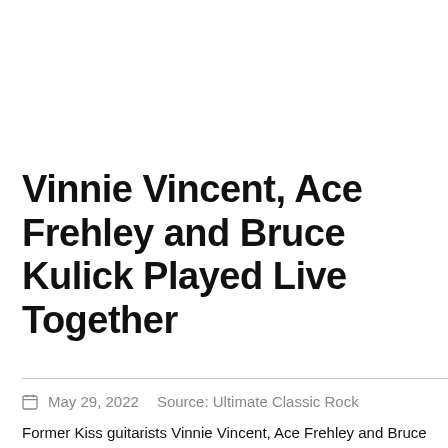Vinnie Vincent, Ace Frehley and Bruce Kulick Played Live Together
May 29, 2022   Source: Ultimate Classic Rock
Former Kiss guitarists Vinnie Vincent, Ace Frehley and Bruce Kulick